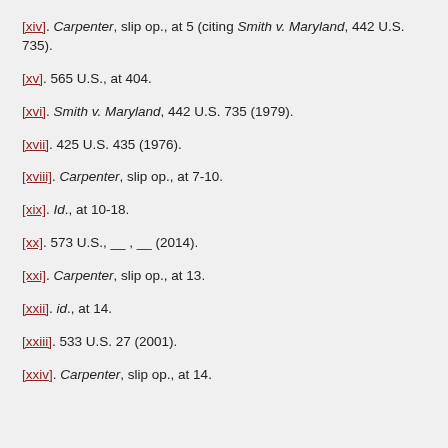[xiv]. Carpenter, slip op., at 5 (citing Smith v. Maryland, 442 U.S. 735).
[xv]. 565 U.S., at 404.
[xvi]. Smith v. Maryland, 442 U.S. 735 (1979).
[xvii]. 425 U.S. 435 (1976).
[xviii]. Carpenter, slip op., at 7-10.
[xix]. Id., at 10-18.
[xx]. 573 U.S., __ , __ (2014).
[xxi]. Carpenter, slip op., at 13.
[xxii]. id., at 14.
[xxiii]. 533 U.S. 27 (2001).
[xxiv]. Carpenter, slip op., at 14.